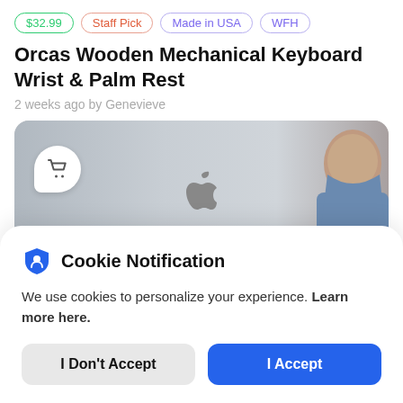$32.99  Staff Pick  Made in USA  WFH
Orcas Wooden Mechanical Keyboard Wrist & Palm Rest
2 weeks ago by Genevieve
[Figure (photo): Photo of a person sitting in front of an Apple MacBook laptop. A shopping cart icon bubble is visible in the top-left of the image.]
Cookie Notification
We use cookies to personalize your experience. Learn more here.
I Don't Accept
I Accept